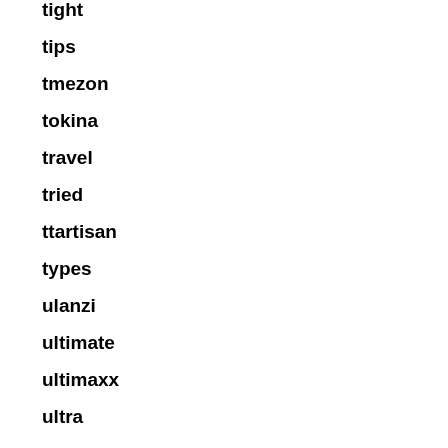tight
tips
tmezon
tokina
travel
tried
ttartisan
types
ulanzi
ultimate
ultimaxx
ultra